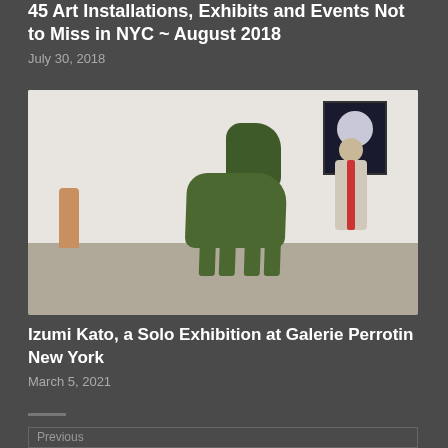45 Art Installations, Exhibits and Events Not to Miss in NYC ~ August 2018
July 30, 2018
[Figure (photo): Gallery installation photo showing large green horse-like sculpture in center of white-walled gallery space, tall figurative sculpture on right with red stripe, dark painting on upper right wall, and small sculpture on left wall]
Izumi Kato, a Solo Exhibition at Galerie Perrotin New York
March 5, 2021
Previous